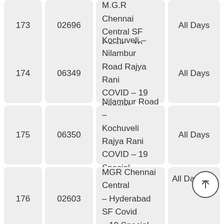| # | Train No. | Train Name | Days |
| --- | --- | --- | --- |
| 173 | 02696 | Central – M.G.R Chennai Central SF Covid – 19 Special | All Days |
| 174 | 06349 | Kochuveli – Nilambur Road Rajya Rani COVID – 19 Special | All Days |
| 175 | 06350 | Nilambur Road – Kochuveli Rajya Rani COVID – 19 Special | All Days |
| 176 | 02603 | MGR Chennai Central – Hyderabad SF Covid – 19 Special | All Days |
| 177 |  | Hyderabad – MGR |  |